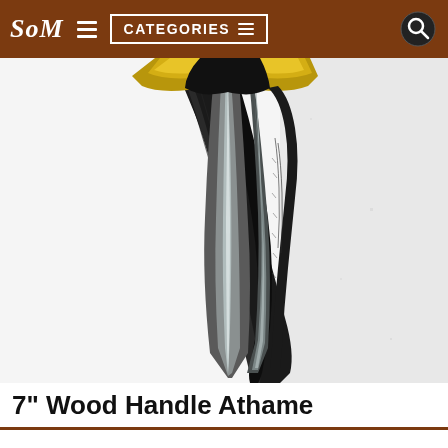SoM  CATEGORIES
[Figure (photo): Close-up photo of a 7-inch athame (ritual dagger) with a black textured wood handle, double-edged steel blade with a central ridge, and a gold-colored crossguard, shown vertically against a white wall background.]
7" Wood Handle Athame